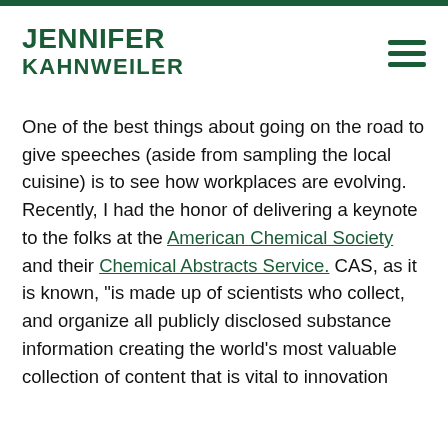JENNIFER KAHNWEILER
One of the best things about going on the road to give speeches (aside from sampling the local cuisine) is to see how workplaces are evolving. Recently, I had the honor of delivering a keynote to the folks at the American Chemical Society and their Chemical Abstracts Service. CAS, as it is known, "is made up of scientists who collect, and organize all publicly disclosed substance information creating the world’s most valuable collection of content that is vital to innovation